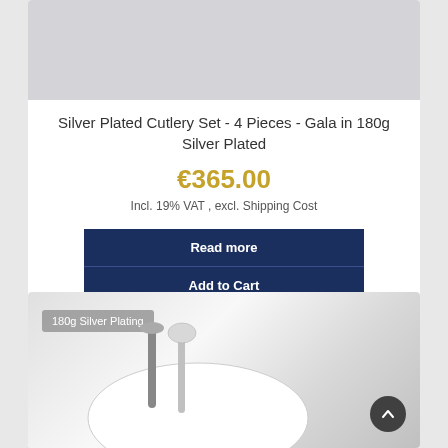[Figure (photo): Light gray product image placeholder for silver cutlery set]
Silver Plated Cutlery Set - 4 Pieces - Gala in 180g Silver Plated
€365.00
Incl. 19% VAT , excl. Shipping Cost
Read more
Add to Cart
[Figure (photo): Bottom product card showing silver cutlery (spoon and fork) on white surface, with '180g Silver Plating' badge and scroll-up button]